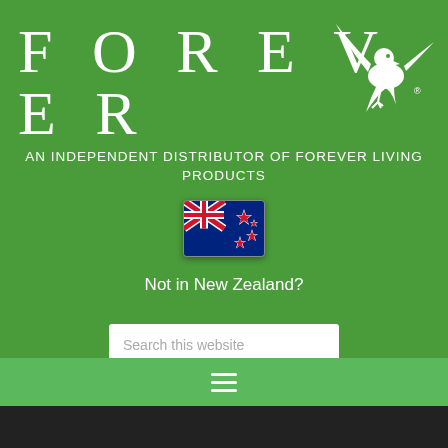FOREVER
AN INDEPENDENT DISTRIBUTOR OF FOREVER LIVING PRODUCTS
[Figure (illustration): New Zealand flag emoji]
Not in New Zealand?
Search this website
[Figure (other): Hamburger menu icon (three horizontal white lines)]
[Figure (other): Dark footer bar]